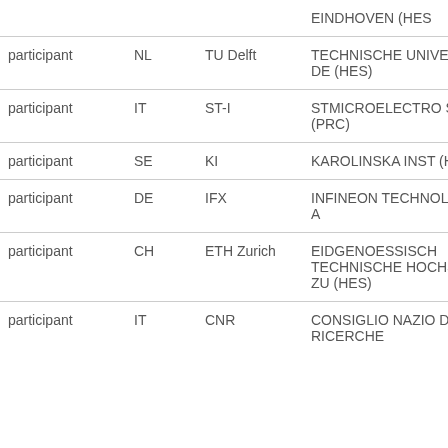|  |  |  | EINDHOVEN (HES |
| participant | NL | TU Delft | TECHNISCHE UNIVERSITEIT DE (HES) |
| participant | IT | ST-I | STMICROELECTRO SRL (PRC) |
| participant | SE | KI | KAROLINSKA INST (HES) |
| participant | DE | IFX | INFINEON TECHNOLOGIES A |
| participant | CH | ETH Zurich | EIDGENOESSISCH TECHNISCHE HOCHSCHULE ZU (HES) |
| participant | IT | CNR | CONSIGLIO NAZIO DELLE RICERCHE |